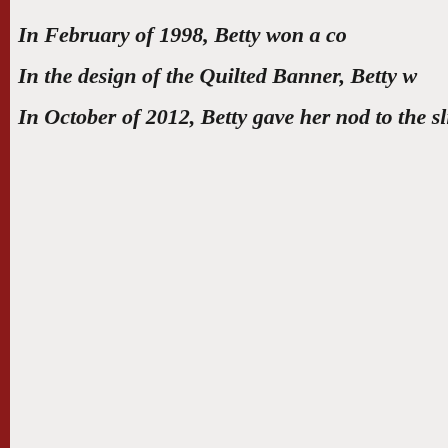In February of 1998, Betty won a co
In the design of the Quilted Banner, Betty w
In October of 2012, Betty gave her nod to the slight cha